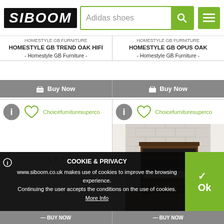SIBOOM | Adidas shoes search
HOMESTYLE GB FURNITURE HOMESTYLE GB TREND OAK HIFI - Homestyle GB Furniture -
HOMESTYLE GB FURNITURE HOMESTYLE GB OPUS OAK - Homestyle GB Furniture -
Buy Now
Buy Now
Choicefurnituresuperco
Choicefurnituresuperco
[Figure (photo): Loading spinner animation]
[Figure (photo): Dark wood hi-fi cabinet with multiple shelves against a brick wall background]
COOKIE & PRIVACY
www.siboom.co.uk makes use of cookies to improve the browsing experience. Continuing the user accepts the conditions on the use of cookies. More Info
Ok
BUY NOW
BUY NOW